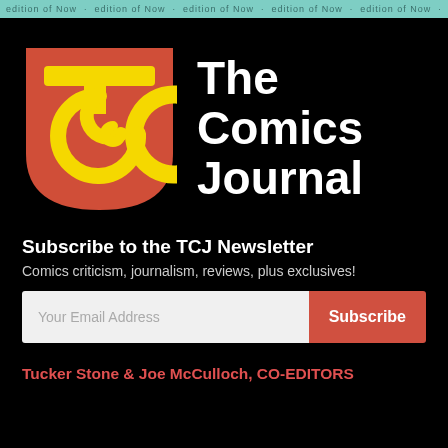edition of Now · edition of Now · edition of Now · edition of Now · edition of Now
[Figure (logo): The Comics Journal logo: red shield shape with yellow T and yellow C spiral, beside bold white text reading 'The Comics Journal']
Subscribe to the TCJ Newsletter
Comics criticism, journalism, reviews, plus exclusives!
Your Email Address  [Subscribe button]
Tucker Stone & Joe McCulloch, CO-EDITORS